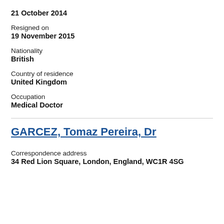21 October 2014
Resigned on
19 November 2015
Nationality
British
Country of residence
United Kingdom
Occupation
Medical Doctor
GARCEZ, Tomaz Pereira, Dr
Correspondence address
34 Red Lion Square, London, England, WC1R 4SG